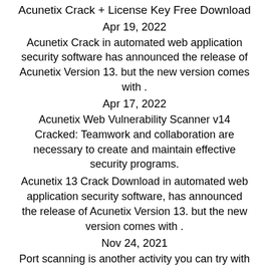Acunetix Crack + License Key Free Download
Apr 19, 2022
Acunetix Crack in automated web application security software has announced the release of Acunetix Version 13. but the new version comes with .
Apr 17, 2022
Acunetix Web Vulnerability Scanner v14 Cracked: Teamwork and collaboration are necessary to create and maintain effective security programs.
Acunetix 13 Crack Download in automated web application security software, has announced the release of Acunetix Version 13. but the new version comes with .
Nov 24, 2021
Port scanning is another activity you can try with this application because if it